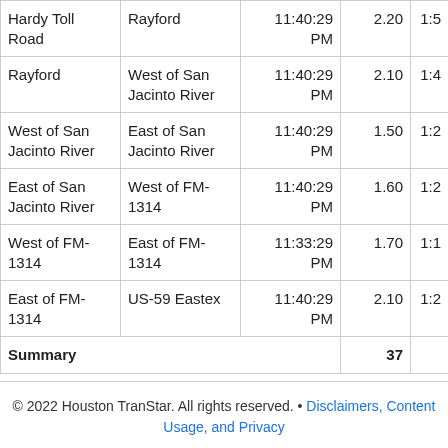| From | To | Time | Miles | Travel Time (partial) |
| --- | --- | --- | --- | --- |
| Hardy Toll Road | Rayford | 11:40:29 PM | 2.20 | 1:5... |
| Rayford | West of San Jacinto River | 11:40:29 PM | 2.10 | 1:4... |
| West of San Jacinto River | East of San Jacinto River | 11:40:29 PM | 1.50 | 1:2... |
| East of San Jacinto River | West of FM-1314 | 11:40:29 PM | 1.60 | 1:2... |
| West of FM-1314 | East of FM-1314 | 11:33:29 PM | 1.70 | 1:1... |
| East of FM-1314 | US-59 Eastex | 11:40:29 PM | 2.10 | 1:2... |
| Summary |  |  | 37 |  |
© 2022 Houston TranStar. All rights reserved. • Disclaimers, Content Usage, and Privacy